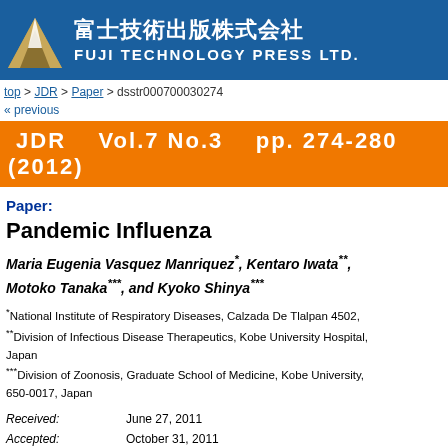[Figure (logo): Fuji Technology Press Ltd. logo with mountain graphic and Japanese/English text on blue background]
top > JDR > Paper > dsstr000700030274
« previous
JDR   Vol.7 No.3   pp. 274-280  (2012)
Paper:
Pandemic Influenza
Maria Eugenia Vasquez Manriquez*, Kentaro Iwata**, Motoko Tanaka***, and Kyoko Shinya***
*National Institute of Respiratory Diseases, Calzada De Tlalpan 4502, **Division of Infectious Disease Therapeutics, Kobe University Hospital, Japan ***Division of Zoonosis, Graduate School of Medicine, Kobe University, 650-0017, Japan
Received: June 27, 2011
Accepted: October 31, 2011